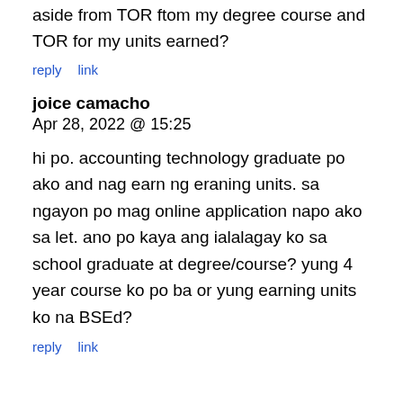aside from TOR ftom my degree course and TOR for my units earned?
reply   link
joice camacho
Apr 28, 2022 @ 15:25
hi po. accounting technology graduate po ako and nag earn ng eraning units. sa ngayon po mag online application napo ako sa let. ano po kaya ang ialalagay ko sa school graduate at degree/course? yung 4 year course ko po ba or yung earning units ko na BSEd?
reply   link